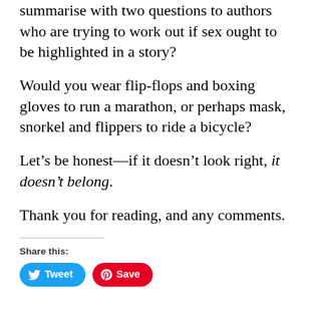summarise with two questions to authors who are trying to work out if sex ought to be highlighted in a story?
Would you wear flip-flops and boxing gloves to run a marathon, or perhaps mask, snorkel and flippers to ride a bicycle?
Let’s be honest—if it doesn’t look right, it doesn’t belong.
Thank you for reading, and any comments.
Share this:
Tweet
Save